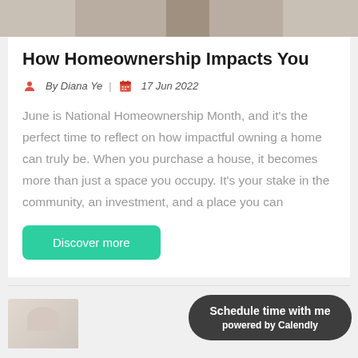[Figure (photo): Partial photo of a room or floor area at top of page]
How Homeownership Impacts You
By Diana Ye  |  17 Jun 2022
June is National Homeownership Month, and it's the perfect time to reflect on how impactful owning a home can truly be. When you purchase a house, it becomes more than just a space you occupy. It's your stake in the community, an investment, and a place you can
Discover more
[Figure (photo): Partial photo at bottom of page]
Schedule time with me powered by Calendly